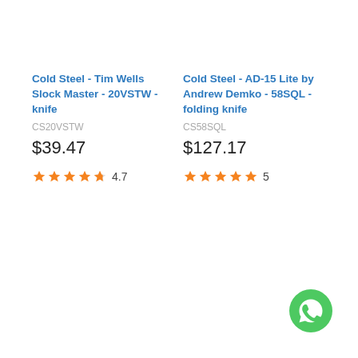Cold Steel - Tim Wells Slock Master - 20VSTW - knife
CS20VSTW
$39.47
4.7 stars
Cold Steel - AD-15 Lite by Andrew Demko - 58SQL - folding knife
CS58SQL
$127.17
5 stars
[Figure (logo): WhatsApp green circular icon with phone handset symbol]